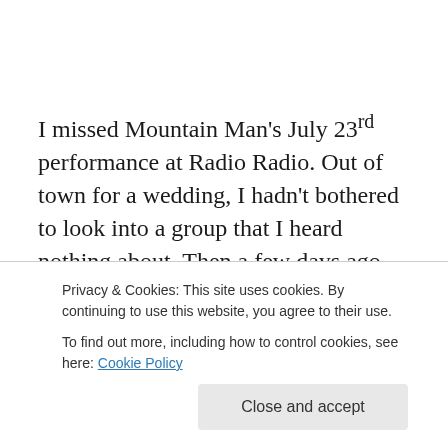I missed Mountain Man's July 23rd performance at Radio Radio. Out of town for a wedding, I hadn't bothered to look into a group that I heard nothing about. Then a few days ago, LaundroMatinee released a couple of videos from a private recording at Big Car Gallery. Mountain Man's songs hit like lead bricks, weighted with fresh takes on traditional American parlor music. They play like a more
Privacy & Cookies: This site uses cookies. By continuing to use this website, you agree to their use. To find out more, including how to control cookies, see here: Cookie Policy